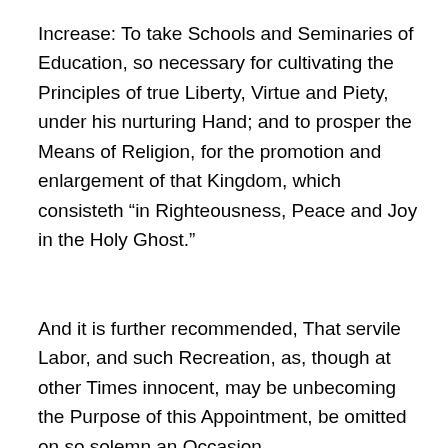Increase: To take Schools and Seminaries of Education, so necessary for cultivating the Principles of true Liberty, Virtue and Piety, under his nurturing Hand; and to prosper the Means of Religion, for the promotion and enlargement of that Kingdom, which consisteth “in Righteousness, Peace and Joy in the Holy Ghost.”
And it is further recommended, That servile Labor, and such Recreation, as, though at other Times innocent, may be unbecoming the Purpose of this Appointment, be omitted on so solemn an Occasion.
General Orders to Give Thanks
After long deliberation, General Washington decided to